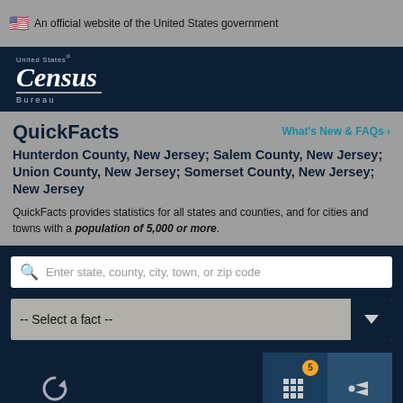An official website of the United States government
[Figure (logo): United States Census Bureau logo]
QuickFacts
Hunterdon County, New Jersey; Salem County, New Jersey; Union County, New Jersey; Somerset County, New Jersey; New Jersey
QuickFacts provides statistics for all states and counties, and for cities and towns with a population of 5,000 or more.
Enter state, county, city, town, or zip code
-- Select a fact --
CLEAR
TABLE
MORE
Is this page helpful?